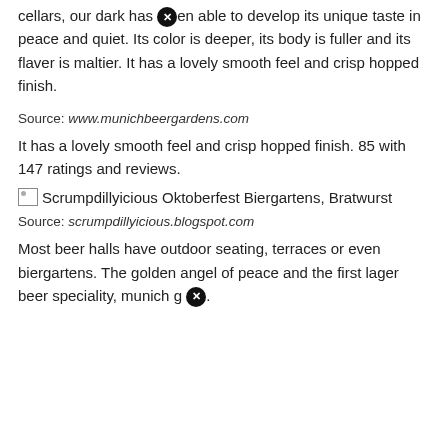cellars, our dark has [blocked] en able to develop its unique taste in peace and quiet. Its color is deeper, its body is fuller and its flaver is maltier. It has a lovely smooth feel and crisp hopped finish.
Source: www.munichbeergardens.com
It has a lovely smooth feel and crisp hopped finish. 85 with 147 ratings and reviews.
[Figure (photo): Broken image placeholder labeled: Scrumpdillyicious Oktoberfest Biergartens, Bratwurst]
Source: scrumpdillyicious.blogspot.com
Most beer halls have outdoor seating, terraces or even biergartens. The golden angel of peace and the first lager beer speciality, munich g [blocked].